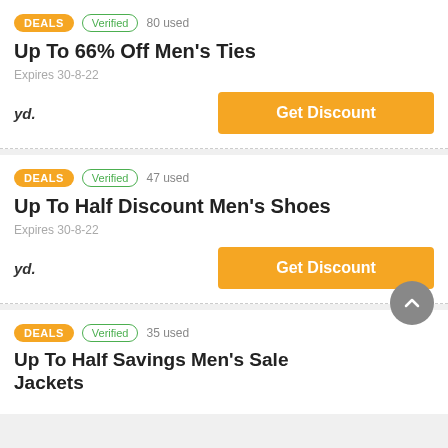DEALS  Verified  80 used
Up To 66% Off Men's Ties
Expires 30-8-22
yd.
Get Discount
DEALS  Verified  47 used
Up To Half Discount Men's Shoes
Expires 30-8-22
yd.
Get Discount
DEALS  Verified  35 used
Up To Half Savings Men's Sale Jackets